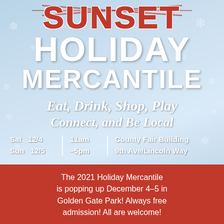SUNSET
HOLIDAY MERCANTILE
Eat, Drink, Shop, Play Connect, and Be Local
Sat 12/4 | 11am | County Fair Building
Sun 12/5 | -5pm | 9th Ave/Lincoln Way
The 2021 Holiday Mercantile is popping up December 4–5 in Golden Gate Park! Always free admission! All are welcome!